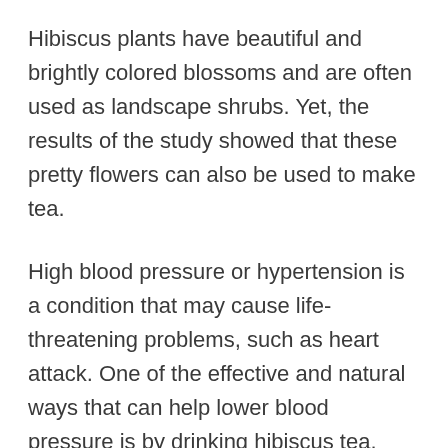Hibiscus plants have beautiful and brightly colored blossoms and are often used as landscape shrubs. Yet, the results of the study showed that these pretty flowers can also be used to make tea.
High blood pressure or hypertension is a condition that may cause life-threatening problems, such as heart attack. One of the effective and natural ways that can help lower blood pressure is by drinking hibiscus tea.
In a Nigerian study published in the Indian Journal of Pharmacology, it was found that